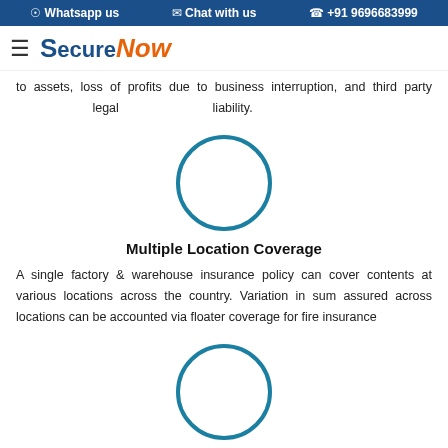Whatsapp us   Chat with us   +91 9696683999
[Figure (logo): SecureNow logo with hamburger menu icon]
to assets, loss of profits due to business interruption, and third party legal liability.
[Figure (illustration): Circle icon for Multiple Location Coverage]
Multiple Location Coverage
A single factory & warehouse insurance policy can cover contents at various locations across the country. Variation in sum assured across locations can be accounted via floater coverage for fire insurance
[Figure (illustration): Circle icon for Customized Cover]
Customized Cover